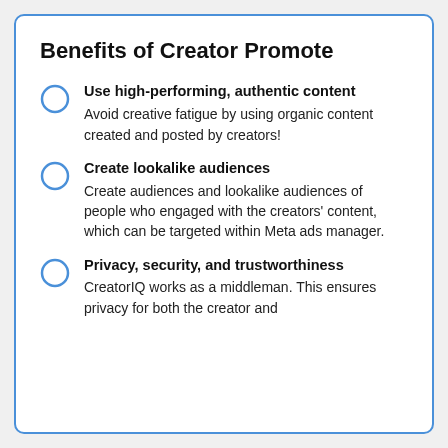Benefits of Creator Promote
Use high-performing, authentic content
Avoid creative fatigue by using organic content created and posted by creators!
Create lookalike audiences
Create audiences and lookalike audiences of people who engaged with the creators' content, which can be targeted within Meta ads manager.
Privacy, security, and trustworthiness
CreatorIQ works as a middleman. This ensures privacy for both the creator and